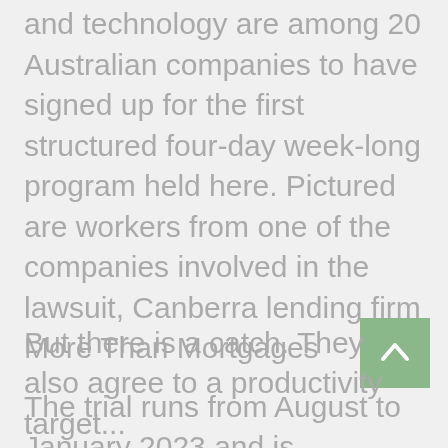and technology are among 20 Australian companies to have signed up for the first structured four-day week-long program held here. Pictured are workers from one of the companies involved in the lawsuit, Canberra lending firm More Than Mortgages
The trial runs from August to January 2023 and is coordinated by 4-Day Week Global, an organization created by Kiwi Chief Financial Officer Andrew Barnes in 2019.
The program has been extensively tested in Iceland, UK, Ireland, Canada, Spain, USA and New Zealand with tens of thousands of employees involved.
Under the "100.80.100" model deployed globally and accepted by bosses, participants are paid as they would for a five-day week and, in theory, work at least 80% of the time.
But there is a catch. They also agree to a productivity target...